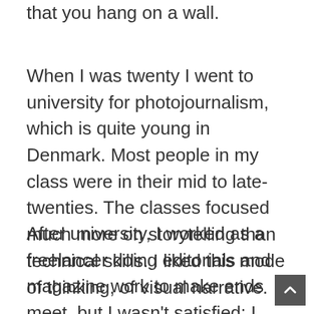that you hang on a wall.
When I was twenty I went to university for photojournalism, which is quite young in Denmark. Most people in my class were in their mid to late-twenties. The classes focused much more on storytelling than technical skills. I liked this mode of thinking, of visual narrative.
After university, I worked as a freelancer doing editorials and magazine work to make ends meet, but I wasn't satisfied: I